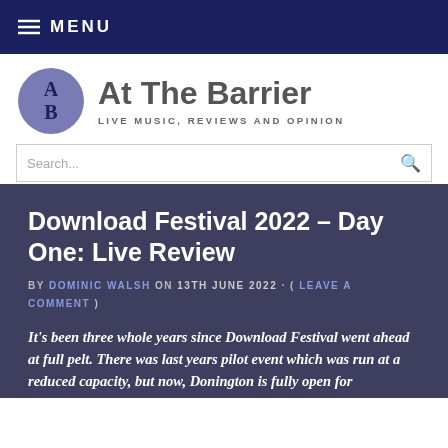MENU
At The Barrier
LIVE MUSIC, REVIEWS AND OPINION
Download Festival 2022 – Day One: Live Review
BY DOMINIC WALSH ON 13TH JUNE 2022 · ( LEAVE A COMMENT )
It's been three whole years since Download Festival went ahead at full pelt. There was last years pilot event which was run at a reduced capacity, but now, Donington is fully open for